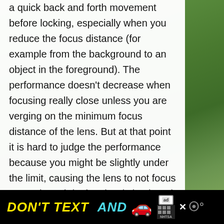a quick back and forth movement before locking, especially when you reduce the focus distance (for example from the background to an object in the foreground). The performance doesn't decrease when focusing really close unless you are verging on the minimum focus distance of the lens. But at that point it is hard to judge the performance because you might be slightly under the limit, causing the lens to not focus correctly and do the classic back and forth movement throughout the entire focus distance range. As such, if you are close to 15cm, it is advisable to switch to manual focus and use the focus assist (like magnification) to be sure of where your focus point is.
The AF performed well with the MCEX-16 as well.
[Figure (photo): Blurred green landscape background visible behind the white content card]
[Figure (infographic): Advertisement banner: 'DON'T TEXT AND' with car emoji, ad badge, and NHTSA logo on black background]